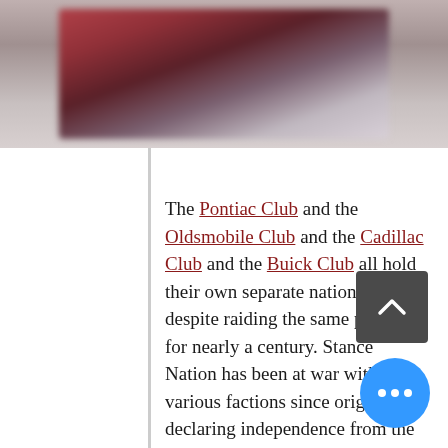[Figure (photo): A blurred photograph of what appears to be a car, with pinkish-red and grey tones, positioned at the top of the page.]
The Pontiac Club and the Oldsmobile Club and the Cadillac Club and the Buick Club all hold their own separate national meets despite raiding the same parts bin for nearly a century. Stance Nation has been at war with various factions since originally declaring independence from the greater lowrider community. At one point in the last year, I had someone look me dead in the eye and tell me that "the politics in the hearse community are weird."